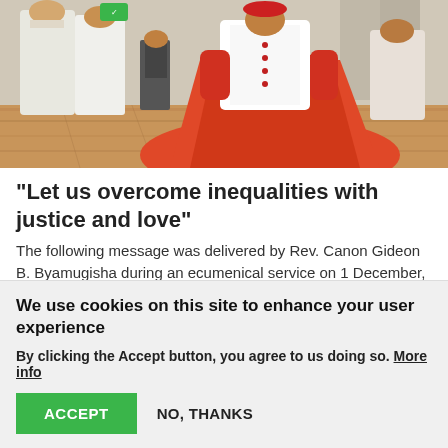[Figure (photo): Photo of people in religious robes, including someone in a red/orange garment on a wooden floor, at what appears to be a religious ceremony.]
“Let us overcome inequalities with justice and love”
The following message was delivered by Rev. Canon Gideon B. Byamugisha during an ecumenical service on 1 December, World AIDS Day. He reflected on the theme ““Let us overcome inequalities with justice and love.”
01 December 2021
We use cookies on this site to enhance your user experience
By clicking the Accept button, you agree to us doing so. More info